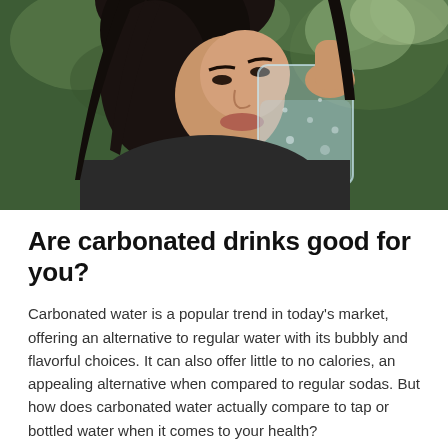[Figure (photo): A woman with dark hair drinking from a glass of carbonated water outdoors, with green trees in the background.]
Are carbonated drinks good for you?
Carbonated water is a popular trend in today’s market, offering an alternative to regular water with its bubbly and flavorful choices. It can also offer little to no calories, an appealing alternative when compared to regular sodas. But how does carbonated water actually compare to tap or bottled water when it comes to your health?